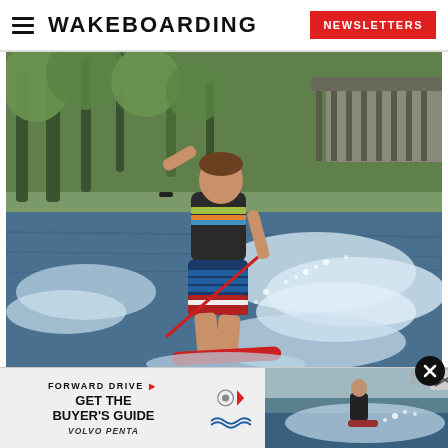WAKEBOARDING | NEWSLETTERS
[Figure (photo): A male wakeboarder riding on water with spray around him, trees and a structure visible in the background. He is wearing a colorful vest and board shorts, holding a handle/rope.]
[Figure (photo): Advertisement banner: FORWARD DRIVE GET THE BUYER'S GUIDE by VOLVO PENTA, with icon graphics and a photo of another wakeboarder on water.]